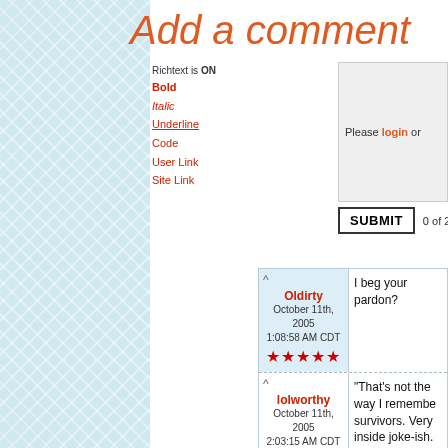Add a comment
Richtext is ON
Bold
Italic
Underline
Code
User Link
Site Link
Please login or
SUBMIT   0 of 2000 characters used.
^ Oldirty October 11th, 2005 1:08:58 AM CDT ★★★★★  I beg your pardon?
^ lolworthy October 11th, 2005 2:03:15 AM CDT  "That's not the way I remembe... survivors. Very inside joke-ish.